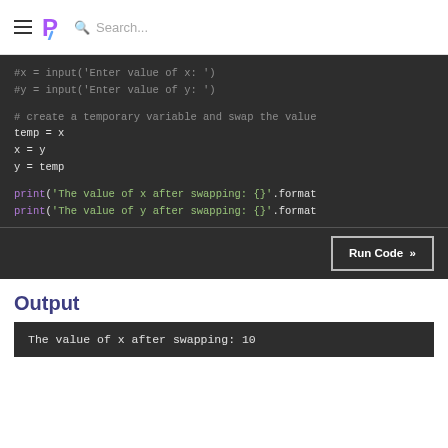Search...
[Figure (screenshot): Python code block showing variable swapping with a temporary variable. Code includes commented-out input lines (#x = input('Enter value of x: '), #y = input('Enter value of y: ')), a comment '# create a temporary variable and swap the value', then temp = x, x = y, y = temp, followed by print statements: print('The value of x after swapping: {}'.format and print('The value of y after swapping: {}'.format. A 'Run Code >>' button appears at the bottom right.]
Output
[Figure (screenshot): Output block showing: The value of x after swapping: 10]